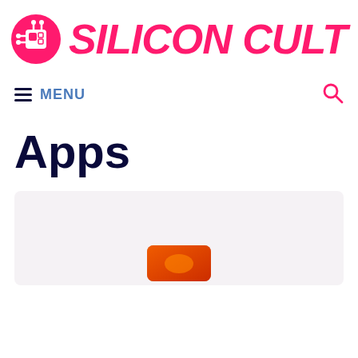[Figure (logo): Silicon Cult logo: pink circle with circuit/chip icon and bold italic pink text 'SILICON CULT']
≡ MENU
Apps
[Figure (screenshot): A card/article preview with light pink-gray background showing a partial image at the bottom center]